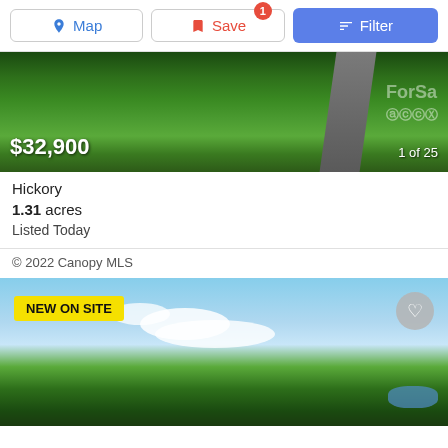[Figure (screenshot): Mobile app toolbar with Map, Save (badge: 1), and Filter buttons]
[Figure (photo): Aerial view of wooded area with road, price $32,900, 1 of 25 indicator, ForSale watermark]
Hickory
1.31 acres
Listed Today
© 2022 Canopy MLS
[Figure (photo): Aerial panoramic view of lake and forest under blue sky with clouds, NEW ON SITE badge and heart/save button]